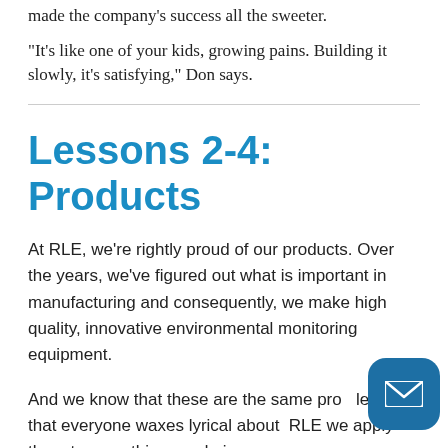made the company's success all the sweeter.
“It’s like one of your kids, growing pains. Building it slowly, it’s satisfying,” Don says.
Lessons 2-4: Products
At RLE, we’re rightly proud of our products. Over the years, we’ve figured out what is important in manufacturing and consequently, we make high quality, innovative environmental monitoring equipment.
And we know that these are the same pro… lessons that everyone waxes lyrical about… RLE we apply them to everything we do in very…